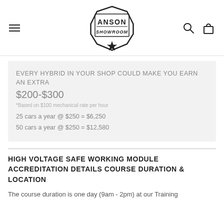[Figure (logo): Anson Showroom logo — shield/badge shape with star, black and white]
EVERY HYBRID IN YOUR SHOP COULD MAKE YOU EARN AN EXTRA
$200-$300
*Based on $100 mechanical rate per hour
25 cars a year @ $250 = $6,250
50 cars a year @ $250 = $12,580
HIGH VOLTAGE SAFE WORKING MODULE ACCREDITATION DETAILS COURSE DURATION & LOCATION
The course duration is one day (9am - 2pm) at our Training